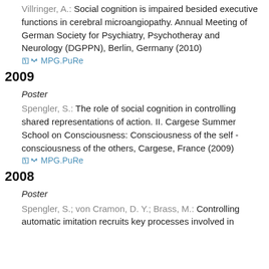Villringer, A.: Social cognition is impaired besided executive functions in cerebral microangiopathy. Annual Meeting of German Society for Psychiatry, Psychotheray and Neurology (DGPPN), Berlin, Germany (2010)
MPG.PuRe
2009
Poster
Spengler, S.: The role of social cognition in controlling shared representations of action. II. Cargese Summer School on Consciousness: Consciousness of the self - consciousness of the others, Cargese, France (2009)
MPG.PuRe
2008
Poster
Spengler, S.; von Cramon, D. Y.; Brass, M.: Controlling automatic imitation recruits key processes involved in